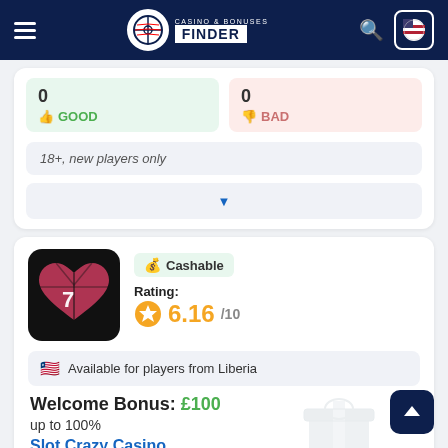Casino & Bonuses Finder
0 GOOD | 0 BAD
18+, new players only
Cashable | Rating: 6.16/10 | Available for players from Liberia
Welcome Bonus: £100
up to 100%
Slot Crazy Casino